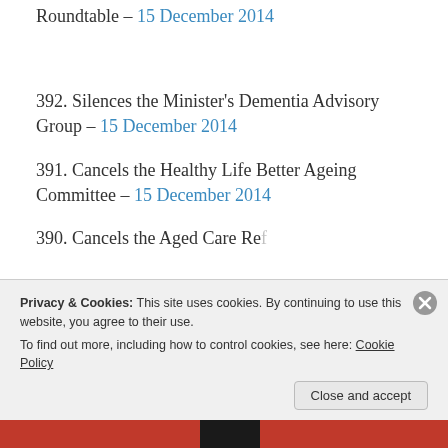Roundtable – 15 December 2014
392. Silences the Minister's Dementia Advisory Group – 15 December 2014
391. Cancels the Healthy Life Better Ageing Committee – 15 December 2014
390. (partial, cut off)
Privacy & Cookies: This site uses cookies. By continuing to use this website, you agree to their use. To find out more, including how to control cookies, see here: Cookie Policy